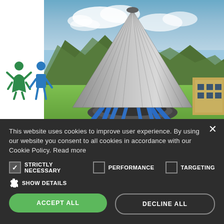[Figure (photo): Outdoor photo of a large conical/tent-like architectural structure with metal roof and blue support poles, set on green grass with mountains and blue sky in background, and a building to the right. Two children icon figures (green girl and blue boy) are visible on the left side of the page.]
This website uses cookies to improve user experience. By using our website you consent to all cookies in accordance with our Cookie Policy. Read more
STRICTLY NECESSARY
PERFORMANCE
TARGETING
SHOW DETAILS
ACCEPT ALL
DECLINE ALL